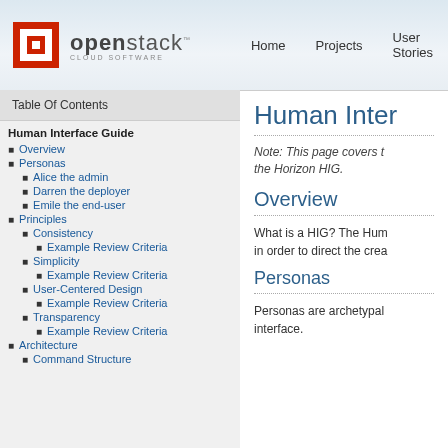openstack CLOUD SOFTWARE | Home | Projects | User Stories | C
Table Of Contents
Human Interface Guide
Overview
Personas
Alice the admin
Darren the deployer
Emile the end-user
Principles
Consistency
Example Review Criteria
Simplicity
Example Review Criteria
User-Centered Design
Example Review Criteria
Transparency
Example Review Criteria
Architecture
Command Structure
Human Inte
Note: This page covers t the Horizon HIG.
Overview
What is a HIG? The Hum in order to direct the crea
Personas
Personas are archetypal interface.